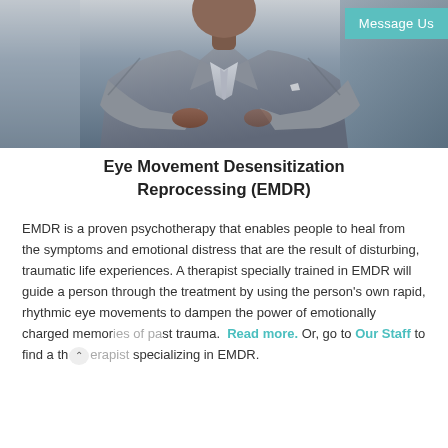[Figure (photo): Photo of a man in a grey suit with arms crossed, upper body visible, against a blue-grey background. A 'Message Us' button appears in the top right corner over a teal background.]
Eye Movement Desensitization Reprocessing (EMDR)
EMDR is a proven psychotherapy that enables people to heal from the symptoms and emotional distress that are the result of disturbing, traumatic life experiences. A therapist specially trained in EMDR will guide a person through the treatment by using the person's own rapid, rhythmic eye movements to dampen the power of emotionally charged memories of past trauma. Read more. Or, go to Our Staff to find a therapist specializing in EMDR.